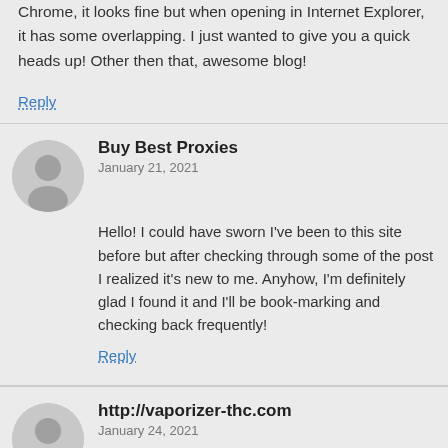Chrome, it looks fine but when opening in Internet Explorer, it has some overlapping. I just wanted to give you a quick heads up! Other then that, awesome blog!
Reply
Buy Best Proxies
January 21, 2021
Hello! I could have sworn I've been to this site before but after checking through some of the post I realized it's new to me. Anyhow, I'm definitely glad I found it and I'll be book-marking and checking back frequently!
Reply
http://vaporizer-thc.com
January 24, 2021
You actually make it seem really easy along with your presentation but I in finding this topic